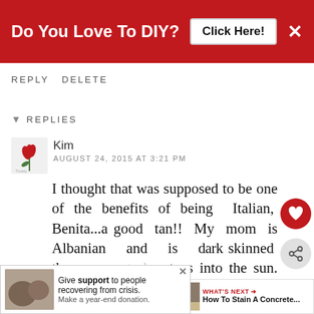[Figure (screenshot): Red banner advertisement: 'Do You Love To DIY? Click Here!' with white X close button]
REPLY DELETE
▾ REPLIES
Kim
AUGUST 24, 2015 AT 3:21 PM
I thought that was supposed to be one of the benefits of being Italian, Benita...a good tan!! My mom is Albanian and is dark skinned the moment she steps into the sun. Not me. I lo...
[Figure (screenshot): Bottom advertisement: Give support to people recovering from crisis. Make a year-end donation.]
[Figure (screenshot): What's Next widget: How To Stain A Concrete...]